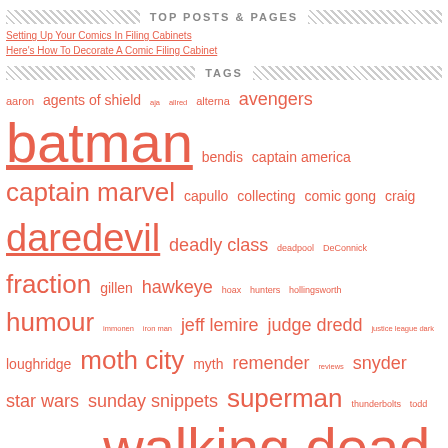TOP POSTS & PAGES
Setting Up Your Comics In Filing Cabinets
Here's How To Decorate A Comic Filing Cabinet
TAGS
aaron agents of shield aja allred alterna avengers batman bendis captain america captain marvel capullo collecting comic gong craig daredevil deadly class deadpool DeConnick fraction gillen hawkeye hoax hunters hollingsworth humour immonen iron man jeff lemire judge dredd justice league dark loughridge moth city myth remender reviews snyder star wars sunday snippets superman thunderbolts todd ugliest waid walking dead wolves of summer wood x-men